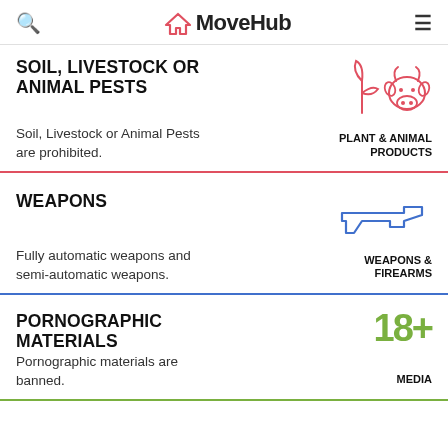MoveHub
SOIL, LIVESTOCK OR ANIMAL PESTS
Soil, Livestock or Animal Pests are prohibited.
[Figure (illustration): Pink/red line icon of a plant and cow representing Plant & Animal Products category]
PLANT & ANIMAL PRODUCTS
WEAPONS
Fully automatic weapons and semi-automatic weapons.
[Figure (illustration): Blue line icon of a handgun representing Weapons & Firearms category]
WEAPONS & FIREARMS
PORNOGRAPHIC MATERIALS
Pornographic materials are banned.
[Figure (illustration): Green 18+ symbol representing Media category]
MEDIA